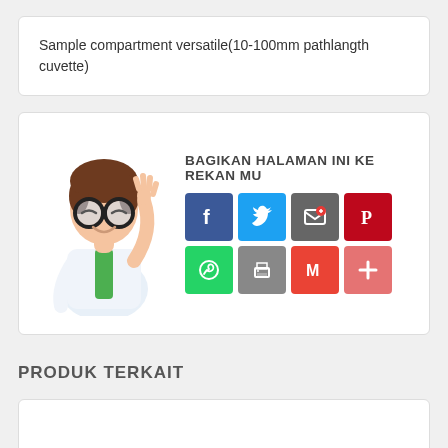Sample compartment versatile(10-100mm pathlangth cuvette)
[Figure (illustration): Share section with cartoon scientist character waving, alongside social media sharing icons (Facebook, Twitter, Email, Pinterest, WhatsApp, Print, Gmail, and a red plus button) and the text BAGIKAN HALAMAN INI KE REKAN MU]
PRODUK TERKAIT